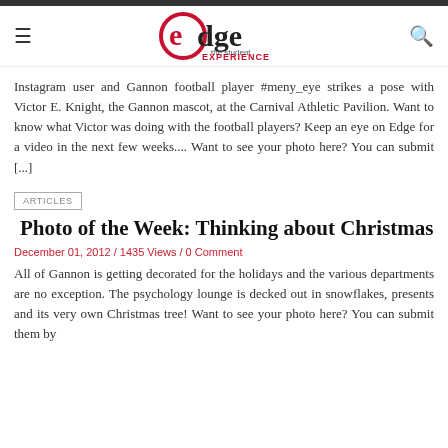edge the student EXPERIENCE
Instagram user and Gannon football player #meny_eye strikes a pose with Victor E. Knight, the Gannon mascot, at the Carnival Athletic Pavilion. Want to know what Victor was doing with the football players? Keep an eye on Edge for a video in the next few weeks.... Want to see your photo here? You can submit [...]
ARTICLES
Photo of the Week: Thinking about Christmas
December 01, 2012 / 1435 Views / 0 Comment
All of Gannon is getting decorated for the holidays and the various departments are no exception. The psychology lounge is decked out in snowflakes, presents and its very own Christmas tree! Want to see your photo here? You can submit them by